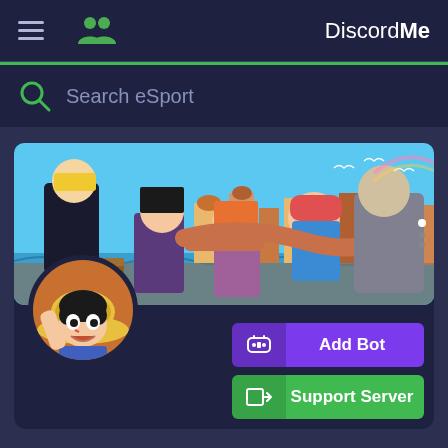DiscordMe
Search eSport
[Figure (screenshot): DiscordMe server listing page showing a One Piece anime themed Discord server with a manga-style banner image, a circular avatar of Luffy, an Add Bot button (purple), and a Support Server button (green).]
Add Bot
Support Server